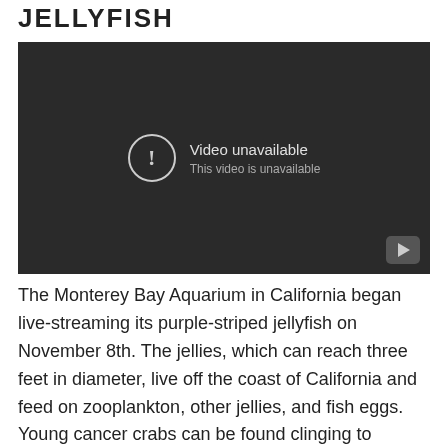JELLYFISH
[Figure (screenshot): Embedded video player showing 'Video unavailable — This video is unavailable' message on a dark background with a YouTube-style play button in the bottom right corner.]
The Monterey Bay Aquarium in California began live-streaming its purple-striped jellyfish on November 8th. The jellies, which can reach three feet in diameter, live off the coast of California and feed on zooplankton, other jellies, and fish eggs. Young cancer crabs can be found clinging to purple-